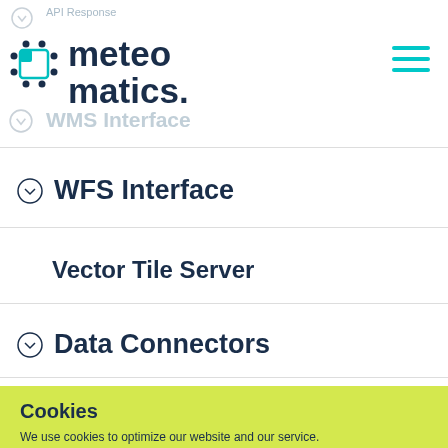[Figure (logo): Meteomatics logo with teal icon and dark blue text, hamburger menu icon on right. Ghost text showing 'API Response' and 'WMS Interface' in background.]
WFS Interface
Vector Tile Server
Data Connectors
Cookies
We use cookies to optimize our website and our service.
Decline  Accept
Privacy Policy  Imprint